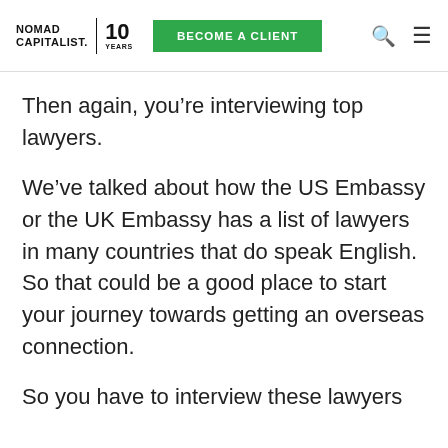NOMAD CAPITALIST. 10 YEARS | BECOME A CLIENT
Then again, you’re interviewing top lawyers.
We’ve talked about how the US Embassy or the UK Embassy has a list of lawyers in many countries that do speak English. So that could be a good place to start your journey towards getting an overseas connection.
So you have to interview these lawyers